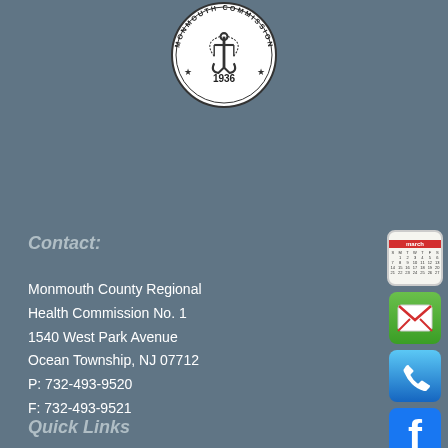[Figure (logo): Monmouth County seal/logo with anchor and text '1936', black and white circular seal]
Contact:
Monmouth County Regional
Health Commission No. 1
1540 West Park Avenue
Ocean Township, NJ 07712
P: 732-493-9520
F: 732-493-9521
[Figure (illustration): Calendar icon - red and white calendar graphic]
[Figure (illustration): Email icon - green button with envelope]
[Figure (illustration): Phone icon - blue button with phone handset]
[Figure (illustration): Facebook icon - blue button with letter f]
[Figure (illustration): Twitter icon - blue button with bird logo]
[Figure (illustration): FAQ/Help icon - white button with question marks and accessibility figure]
Quick Links